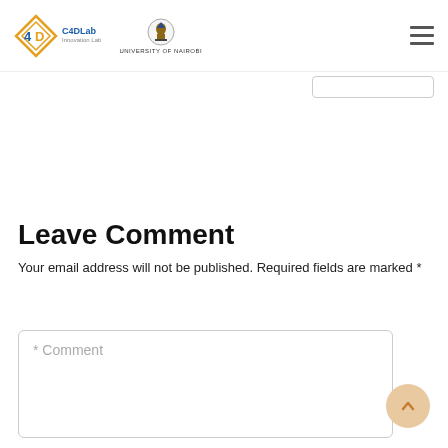C4DLab | University of Nairobi
Leave Comment
Your email address will not be published. Required fields are marked *
* Comment